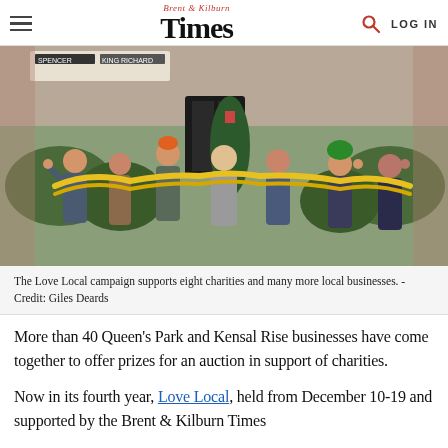Brent & Kilburn Times — LOG IN
[Figure (photo): Group of people standing outside a cinema/venue building, wearing yellow garlands and festive hats, giving thumbs up]
The Love Local campaign supports eight charities and many more local businesses. - Credit: Giles Deards
More than 40 Queen's Park and Kensal Rise businesses have come together to offer prizes for an auction in support of charities.
Now in its fourth year, Love Local, held from December 10-19 and supported by the Brent & Kilburn Times